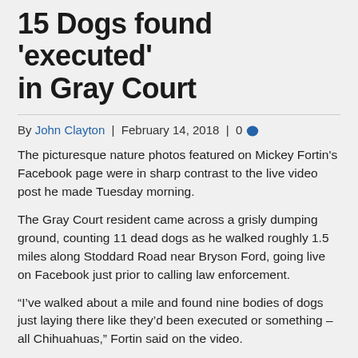15 Dogs found 'executed' in Gray Court
By John Clayton | February 14, 2018 | 0
The picturesque nature photos featured on Mickey Fortin's Facebook page were in sharp contrast to the live video post he made Tuesday morning.
The Gray Court resident came across a grisly dumping ground, counting 11 dead dogs as he walked roughly 1.5 miles along Stoddard Road near Bryson Ford, going live on Facebook just prior to calling law enforcement.
“I’ve walked about a mile and found nine bodies of dogs just laying there like they’d been executed or something – all Chihuahuas,” Fortin said on the video.
The number of bodies grew to 15 as investigators from Laurens County Animal Control and the Laurens County Sheriff’s Office arrived on scene.